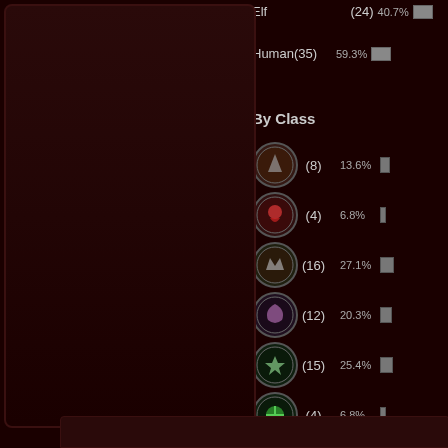Elf (24) 40.7%
Human(35) 59.3%
By Class
(8) 13.6%
(4) 6.8%
(16) 27.1%
(12) 20.3%
(15) 25.4%
(4) 6.8%
Last Forum Posts
Topic
Getting Started by GrizzyGr
Welcome to Your New Site!
View Forums...